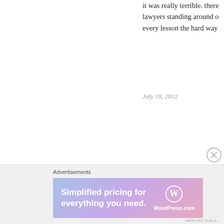it was really terrible. there were lawyers standing around o every lesson the hard way
July 18, 2012
[Figure (illustration): Avatar sketch of biblepanic user, hand-drawn style figure with purple accent]
biblepanic #
Loved this! I find this sick pleasure reading ab little missions with kids in tow. Ours is five ar legoland trip for another few months i think.
July 17, 2012
Advertisements
[Figure (screenshot): WordPress.com advertisement banner: Simplified pricing for everything you need. WordPress.com logo.]